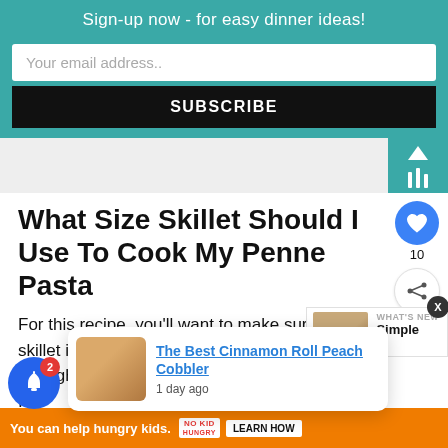Sign-up now - for easy dinner ideas!
Your email address..
SUBSCRIBE
What Size Skillet Should I Use To Cook My Penne Pasta
For this recipe, you'll want to make sure your skillet is large enough for all of the ingredients in one batch. I recommend at least a 13-inch skillet. A high-edge skillet like this one works great!
What Are M
The Best Cinnamon Roll Peach Cobbler
1 day ago
WHAT'S NEW
Simple
You can help hungry kids.
LEARN HOW